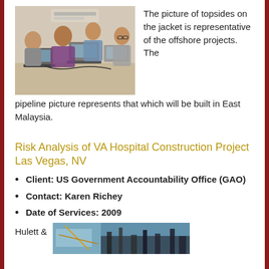[Figure (photo): Four men sitting around a table with laptops in an office/meeting room setting]
The picture of topsides on the jacket is representative of the offshore projects. The pipeline picture represents that which will be built in East Malaysia.
Risk Analysis of VA Hospital Construction Project Las Vegas, NV
Client: US Government Accountability Office (GAO)
Contact: Karen Richey
Date of Services: 2009
Hulett &
[Figure (photo): Partial view of a photo at the bottom right of the page]